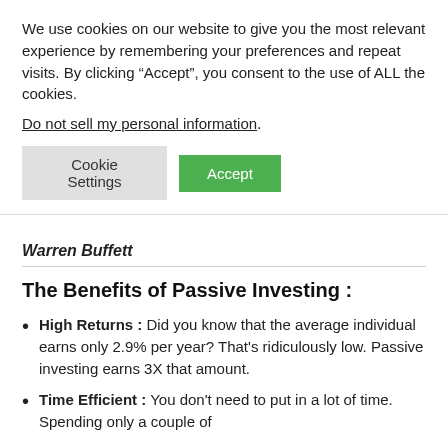We use cookies on our website to give you the most relevant experience by remembering your preferences and repeat visits. By clicking “Accept”, you consent to the use of ALL the cookies.
Do not sell my personal information.
Cookie Settings  Accept
Warren Buffett
The Benefits of Passive Investing :
High Returns : Did you know that the average individual earns only 2.9% per year? That’s ridiculously low. Passive investing earns 3X that amount.
Time Efficient : You don’t need to put in a lot of time. Spending only a couple of